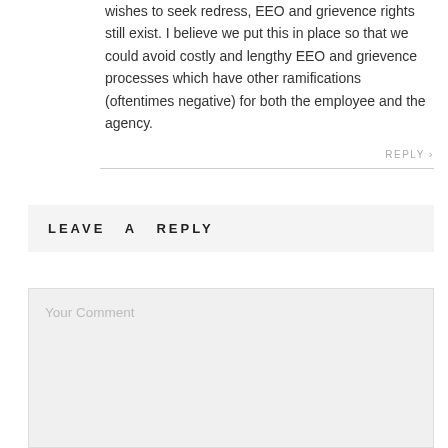wishes to seek redress, EEO and grievence rights still exist. I believe we put this in place so that we could avoid costly and lengthy EEO and grievence processes which have other ramifications (oftentimes negative) for both the employee and the agency.
REPLY ›
LEAVE A REPLY
Your Comment